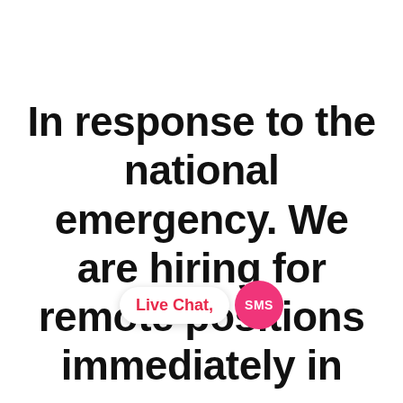In response to the national emergency. We are hiring for remote positions immediately in many departments. Apply as a team member and you will be contacted by a hiring
[Figure (screenshot): Live Chat button widget with pink SMS circle icon overlaid on the text]